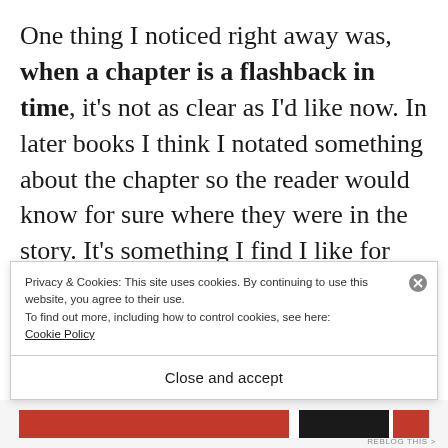One thing I noticed right away was, when a chapter is a flashback in time, it's not as clear as I'd like now. In later books I think I notated something about the chapter so the reader would know for sure where they were in the story. It's something I find I like for myself as a reader, and I think needs correcting once I'm done rereading the
Privacy & Cookies: This site uses cookies. By continuing to use this website, you agree to their use.
To find out more, including how to control cookies, see here:
Cookie Policy
Close and accept